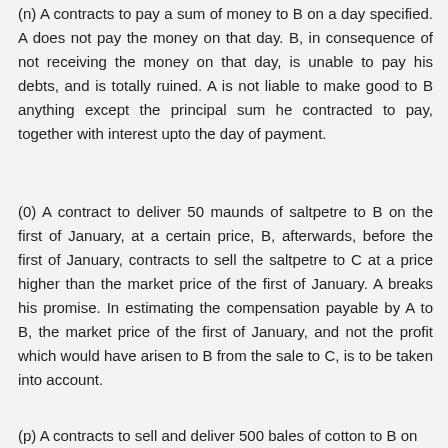(n) A contracts to pay a sum of money to B on a day specified. A does not pay the money on that day. B, in consequence of not receiving the money on that day, is unable to pay his debts, and is totally ruined. A is not liable to make good to B anything except the principal sum he contracted to pay, together with interest upto the day of payment.
(0) A contract to deliver 50 maunds of saltpetre to B on the first of January, at a certain price, B, afterwards, before the first of January, contracts to sell the saltpetre to C at a price higher than the market price of the first of January. A breaks his promise. In estimating the compensation payable by A to B, the market price of the first of January, and not the profit which would have arisen to B from the sale to C, is to be taken into account.
(p) A contracts to sell and deliver 500 bales of cotton to B on